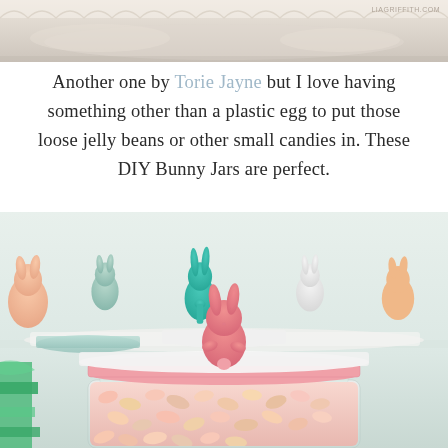[Figure (photo): Partial top image showing decorative lace or doily elements on a light background, with watermark 'LIAGRIFFITH.COM' in the top right corner.]
Another one by Torie Jayne but I love having something other than a plastic egg to put those loose jelly beans or other small candies in. These DIY Bunny Jars are perfect.
[Figure (photo): Photo of DIY Bunny Jars: glass mason jars filled with pastel jelly beans, topped with pastel-colored lids (pink, mint, white) with painted bunny figurines on top. Multiple bunny figurines in pastel colors (peach, mint, teal, white, gray, orange) arranged in the background on a white surface. Green ribbon visible on the left side.]